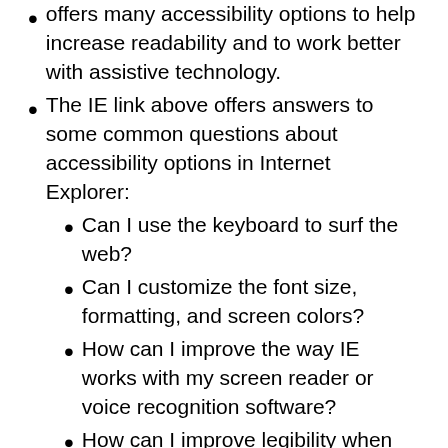offers many accessibility options to help increase readability and to work better with assistive technology.
The IE link above offers answers to some common questions about accessibility options in Internet Explorer:
Can I use the keyboard to surf the web?
Can I customize the font size, formatting, and screen colors?
How can I improve the way IE works with my screen reader or voice recognition software?
How can I improve legibility when printing webpages?
Change CSS